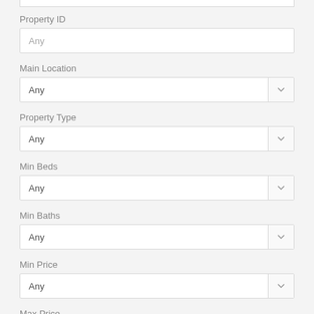Property ID
Any
Main Location
Any
Property Type
Any
Min Beds
Any
Min Baths
Any
Min Price
Any
Max Price